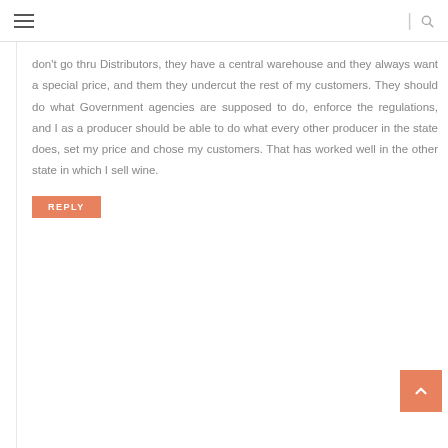≡  |  🔍
don't go thru Distributors, they have a central warehouse and they always want a special price, and them they undercut the rest of my customers. They should do what Government agencies are supposed to do, enforce the regulations, and I as a producer should be able to do what every other producer in the state does, set my price and chose my customers. That has worked well in the other state in which I sell wine.
REPLY